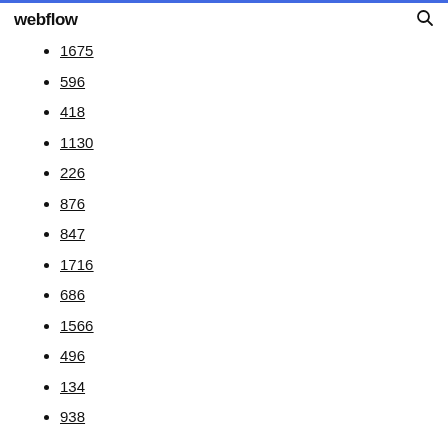webflow
1675
596
418
1130
226
876
847
1716
686
1566
496
134
938